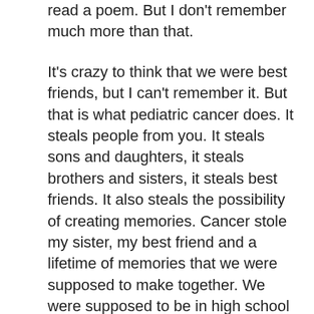read a poem. But I don't remember much more than that.
It's crazy to think that we were best friends, but I can't remember it. But that is what pediatric cancer does. It steals people from you. It steals sons and daughters, it steals brothers and sisters, it steals best friends. It also steals the possibility of creating memories. Cancer stole my sister, my best friend and a lifetime of memories that we were supposed to make together. We were supposed to be in high school together and be at each other's college graduations and weddings. We were supposed to be aunts and uncles to each others kids and our kids were going to be cousins who would go to the beach together. We were supposed to be